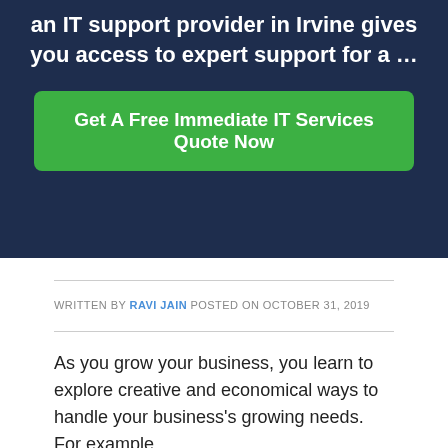an IT support provider in Irvine gives you access to expert support for a …
Get A Free Immediate IT Services Quote Now
WRITTEN BY RAVI JAIN POSTED ON OCTOBER 31, 2019
As you grow your business, you learn to explore creative and economical ways to handle your business's growing needs. For example,